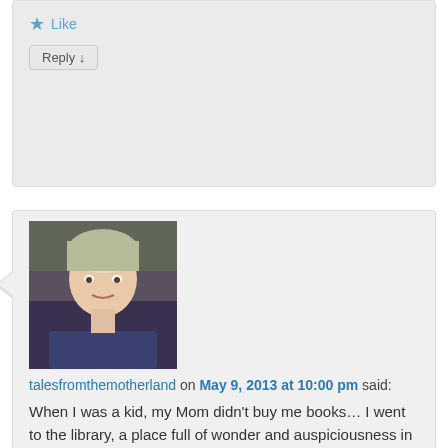[Figure (other): Like button row with star icon and Reply button - top comment block]
[Figure (photo): Profile photo of a blonde woman]
talesfromthemotherland on May 9, 2013 at 10:00 pm said:
When I was a kid, my Mom didn't buy me books… I went to the library, a place full of wonder and auspiciousness in my mind… and suddenly I was wealthy beyond belief!
Like | Reply